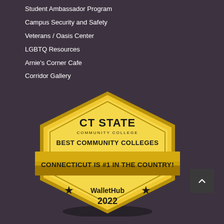Student Ambassador Program
Campus Security and Safety
Veterans / Oasis Center
LGBTQ Resources
Arnie's Corner Cafe
Corridor Gallery
[Figure (logo): CT State Community College badge award: 'Best Community Colleges - Connecticut is #1 in the Country! WalletHub 2022' in a gold hexagonal badge shape with a gold banner ribbon across the center.]